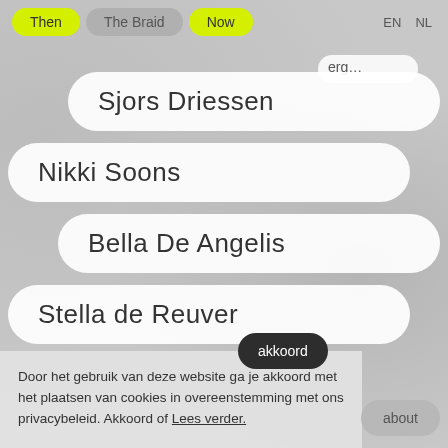Then | The Braid | Now | EN | NL
Sjors Driessen
Nikki Soons
Bella De Angelis
Stella de Reuver
akkoord
Door het gebruik van deze website ga je akkoord met het plaatsen van cookies in overeenstemming met ons privacybeleid. Akkoord of Lees verder.
about